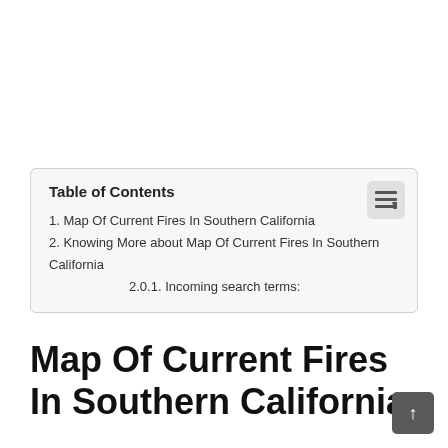| 1. Map Of Current Fires In Southern California |
| 2. Knowing More about Map Of Current Fires In Southern California |
| 2.0.1. Incoming search terms: |
Map Of Current Fires In Southern California